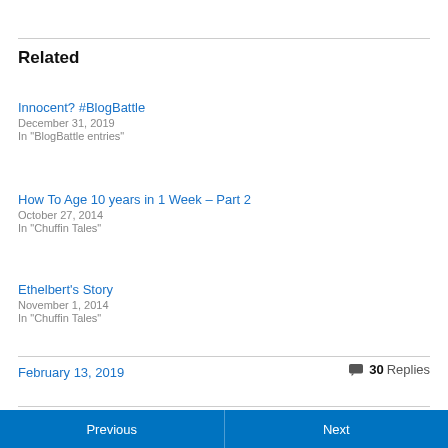Related
Innocent? #BlogBattle
December 31, 2019
In "BlogBattle entries"
How To Age 10 years in 1 Week – Part 2
October 27, 2014
In "Chuffin Tales"
Ethelbert's Story
November 1, 2014
In "Chuffin Tales"
February 13, 2019
30 Replies
Previous | Next